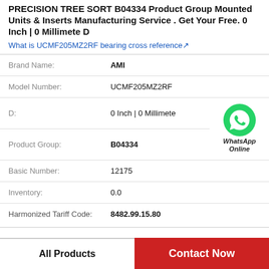PRECISION TREE SORT B04334 Product Group Mounted Units & Inserts Manufacturing Service . Get Your Free. 0 Inch | 0 Millimete D
What is UCMF205MZ2RF bearing cross reference↗
| Field | Value |
| --- | --- |
| Brand Name: | AMI |
| Model Number: | UCMF205MZ2RF |
| D: | 0 Inch | 0 Millimete |
| Product Group: | B04334 |
| Basic Number: | 12175 |
| Inventory: | 0.0 |
| Harmonized Tariff Code: | 8482.99.15.80 |
[Figure (logo): WhatsApp Online green phone icon with text 'WhatsApp Online']
All Products
Contact Now